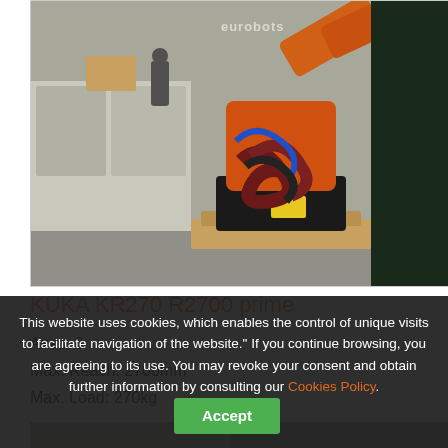[Figure (photo): KUKA KR270 R2700 prime industrial robot arm, orange colored, with hoses and cables, sitting on a wooden pallet in an industrial warehouse setting. Watermark text 'eurobots' visible.]
KUKA KR270 R2700 prime
Axes: 6
Max. Reach: 2700mm
Max. Load: 270kg
[Figure (photo): Partial view of another robot product listing with green 'Available' badge.]
This website uses cookies, which enables the control of unique visits to facilitate navigation of the website." If you continue browsing, you are agreeing to its use. You may revoke your consent and obtain further information by consulting our Cookies Policy.